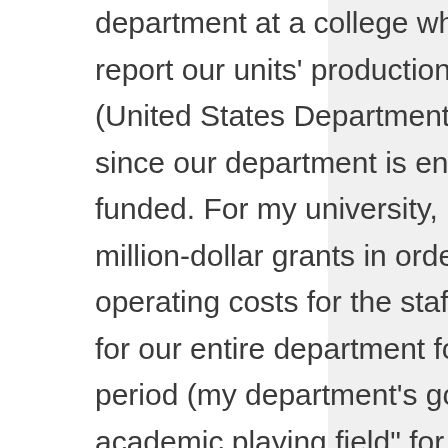department at a college where I have to report our units' production to the USED (United States Department of Education), since our department is entirely grant-funded. For my university, I write multi-million-dollar grants in order to obtain the operating costs for the staff and programs for our entire department for a five-year period (my department's goal is to “level the academic playing field” for first-generation, income-eligible [essentially low-income] students attending our university). Although I'm (nearly) always overwhelmed with work to the point of exasperation, fans of my